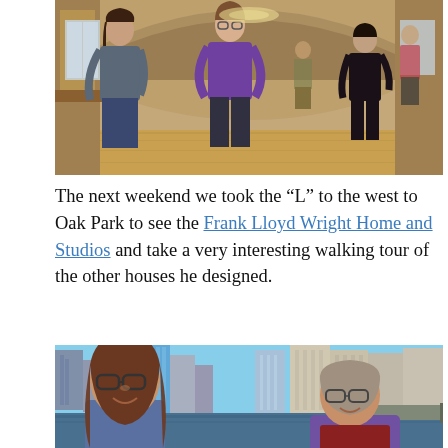[Figure (photo): Interior photo of Frank Lloyd Wright Home and Studio showing several people standing in a large room with wood floors, curved ceiling, and large windows. Multiple visitors and a guide are visible.]
The next weekend we took the “L” to the west to Oak Park to see the Frank Lloyd Wright Home and Studios and take a very interesting walking tour of the other houses he designed.
[Figure (photo): Photo of Chicago skyline along the Chicago River with a young woman with glasses and long brown hair in the foreground on the left, and an older woman on the right, both appearing to be on a boat tour. Tall skyscrapers and a bridge are visible in the background.]